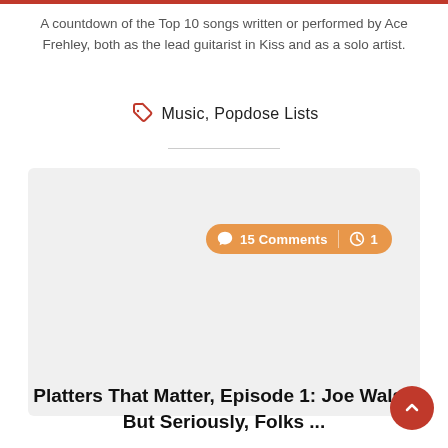A countdown of the Top 10 songs written or performed by Ace Frehley, both as the lead guitarist in Kiss and as a solo artist.
Music, Popdose Lists
[Figure (other): Light gray card/image placeholder box with an orange badge showing '15 Comments' and a clock icon with '1']
Platters That Matter, Episode 1: Joe Walsh But Seriously, Folks ...